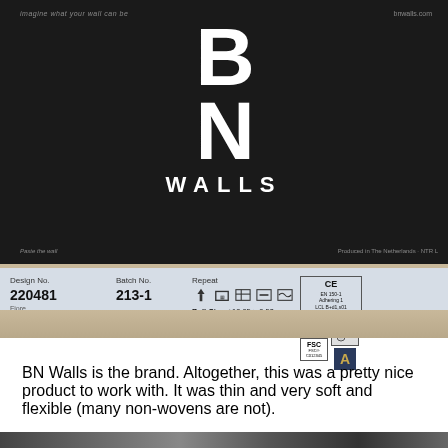[Figure (photo): Photo of BN Walls wallpaper roll packaging label. Dark/black roll with large white 'B N WALLS' logo on front. Below the roll is a light blue/grey label strip showing Design No. 220481, Batch No. 213-1, Repeat icons, Roll-Size ±10.05 x 0.53 m, CE mark, FSC logo, and an 'A' rating badge.]
BN Walls is the brand. Altogether, this was a pretty nice product to work with. It was thin and very soft and flexible (many non-wovens are not).
[Figure (photo): Partial photo at bottom of page showing wallpaper pattern with dark background and light colored leaf/floral design, placed on carpet.]